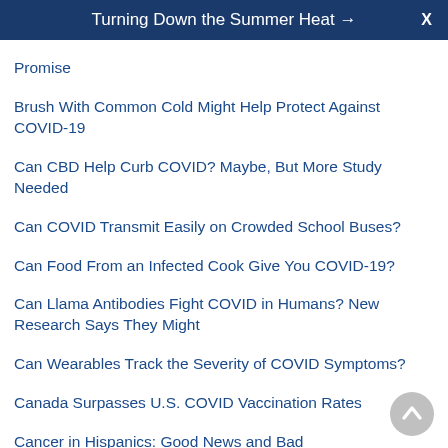Turning Down the Summer Heat → X
Promise
Brush With Common Cold Might Help Protect Against COVID-19
Can CBD Help Curb COVID? Maybe, But More Study Needed
Can COVID Transmit Easily on Crowded School Buses?
Can Food From an Infected Cook Give You COVID-19?
Can Llama Antibodies Fight COVID in Humans? New Research Says They Might
Can Wearables Track the Severity of COVID Symptoms?
Canada Surpasses U.S. COVID Vaccination Rates
Cancer in Hispanics: Good News and Bad